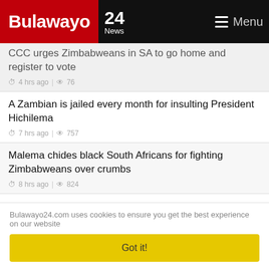Bulawayo 24 News | Menu
CCC urges Zimbabweans in SA to go home and register to vote
4 hrs ago | 76
A Zambian is jailed every month for insulting President Hichilema
7 hrs ago | 757
Malema chides black South Africans for fighting Zimbabweans over crumbs
8 hrs ago | 824
6 perish as vehicles collide in Mutare
11 hrs ago | 1069
Bulawayo24.com uses cookies to ensure you get the best experience on our website
Got it!